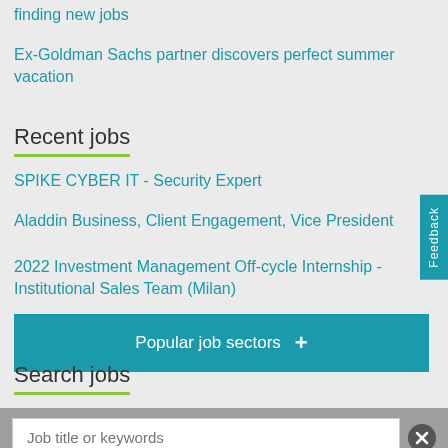finding new jobs
Ex-Goldman Sachs partner discovers perfect summer vacation
Recent jobs
SPIKE CYBER IT - Security Expert
Aladdin Business, Client Engagement, Vice President
2022 Investment Management Off-cycle Internship - Institutional Sales Team (Milan)
Popular job sectors
Search jobs
Job title or keywords